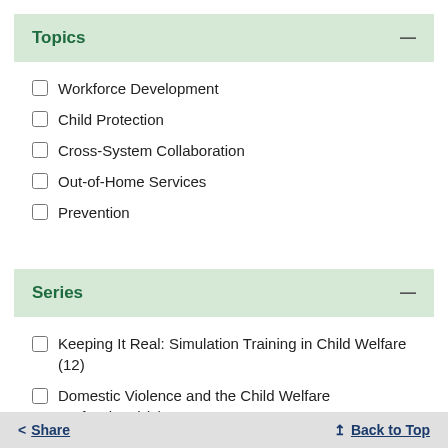Topics
Workforce Development
Child Protection
Cross-System Collaboration
Out-of-Home Services
Prevention
Series
Keeping It Real: Simulation Training in Child Welfare (12)
Domestic Violence and the Child Welfare Professional (6)
Share   Back to Top